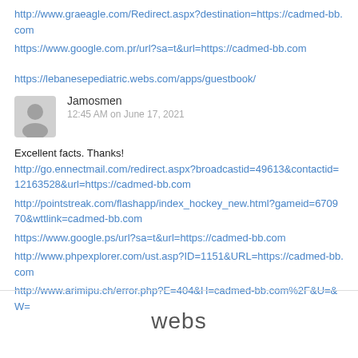http://www.graeagle.com/Redirect.aspx?destination=https://cadmed-bb.com
https://www.google.com.pr/url?sa=t&url=https://cadmed-bb.com
https://lebanesepediatric.webs.com/apps/guestbook/
Jamosmen
12:45 AM on June 17, 2021
Excellent facts. Thanks!
http://go.ennectmail.com/redirect.aspx?broadcastid=49613&contactid=12163528&url=https://cadmed-bb.com
http://pointstreak.com/flashapp/index_hockey_new.html?gameid=670970&wttlink=cadmed-bb.com
https://www.google.ps/url?sa=t&url=https://cadmed-bb.com
http://www.phpexplorer.com/ust.asp?ID=1151&URL=https://cadmed-bb.com
http://www.arimipu.ch/error.php?E=404&H=cadmed-bb.com%2F&U=&W=
webs